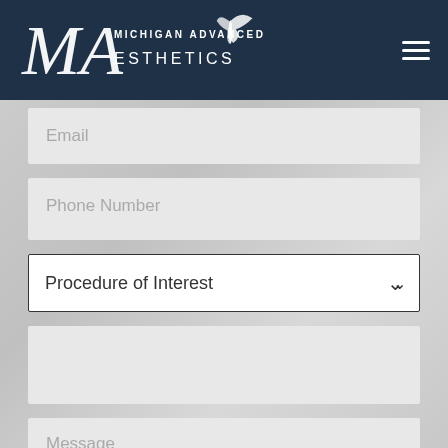[Figure (logo): Michigan Advanced Aesthetics logo with cursive MA letters and butterfly on dark navy header bar]
Email
Phone Number
Procedure of Interest
Message